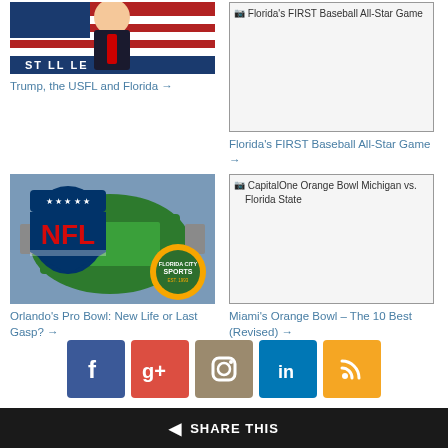[Figure (photo): Partial photo of man in suit with red tie, American flag background, USFL banner at bottom]
Trump, the USFL and Florida →
[Figure (other): Broken image placeholder for Florida's FIRST Baseball All-Star Game]
Florida's FIRST Baseball All-Star Game →
[Figure (photo): NFL shield logo overlaid on aerial view of stadium, Florida City Sports badge in corner]
Orlando's Pro Bowl: New Life or Last Gasp? →
[Figure (other): Broken image placeholder for CapitalOne Orange Bowl Michigan vs. Florida State]
Miami's Orange Bowl – The 10 Best (Revised) →
[Figure (other): Social media icons: Facebook, Google+, Instagram, LinkedIn, RSS]
SHARE THIS